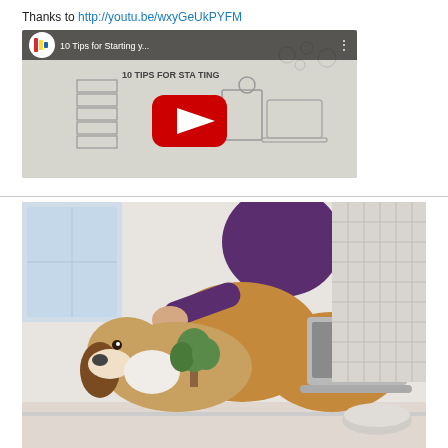Thanks to http://youtu.be/wxyGeUkPYFM
[Figure (screenshot): YouTube video thumbnail for '10 Tips for Starting y...' showing a sketch-style animation with a YouTube play button overlay and channel logo]
[Figure (photo): Photo of a person in a purple sweater sitting cross-legged on the floor with a laptop, petting a beagle dog]